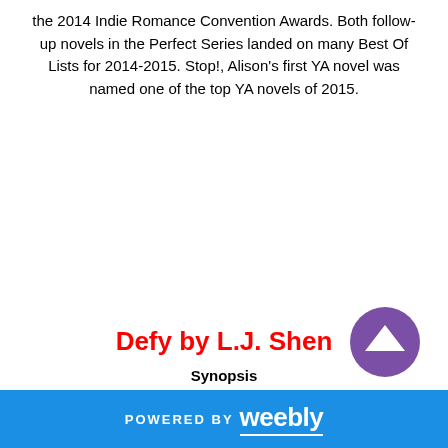the 2014 Indie Romance Convention Awards. Both follow-up novels in the Perfect Series landed on many Best Of Lists for 2014-2015. Stop!, Alison's first YA novel was named one of the top YA novels of 2015.
Defy by L.J. Shen
Synopsis
POWERED BY weebly